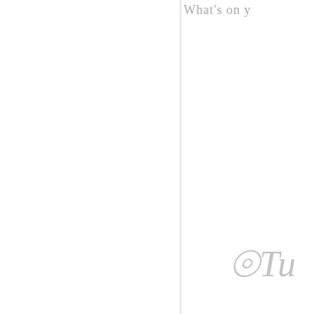What's on y
[Figure (illustration): Decorative cursive/script text element, partially visible, in gray]
Posted by Christy @ TheReaderBee at
Labels: Top Ten Tuesday
MONDAY, JANUARY 28, 2
My Thoughts: Two C
[Figure (photo): Book cover showing 'Karen M. McMa...' text, 'New York Times Bestselling Author of ONE OF U...' subtitle, dark background with red element at bottom]